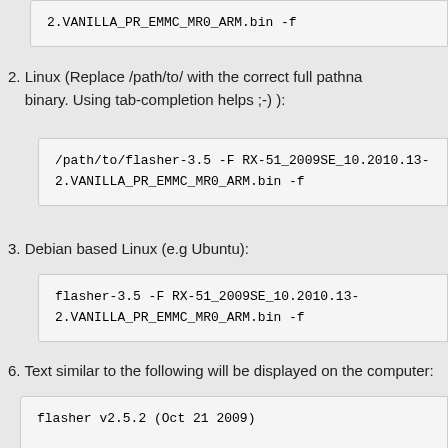[Figure (screenshot): Code box showing: 2.VANILLA_PR_EMMC_MR0_ARM.bin -f]
2. Linux (Replace /path/to/ with the correct full pathname of the binary. Using tab-completion helps ;-) ):
[Figure (screenshot): Code box showing: /path/to/flasher-3.5 -F RX-51_2009SE_10.2010.13-
2.VANILLA_PR_EMMC_MR0_ARM.bin -f]
3. Debian based Linux (e.g Ubuntu):
[Figure (screenshot): Code box showing: flasher-3.5 -F RX-51_2009SE_10.2010.13-
2.VANILLA_PR_EMMC_MR0_ARM.bin -f]
6. Text similar to the following will be displayed on the computer:
[Figure (screenshot): Code box showing: flasher v2.5.2 (Oct 21 2009)

Image 'mmc', size 255947 kB
        Version RX-51_2009SE_10.2010.13-2.VANILLA
Suitable USB device not found, waiting.]